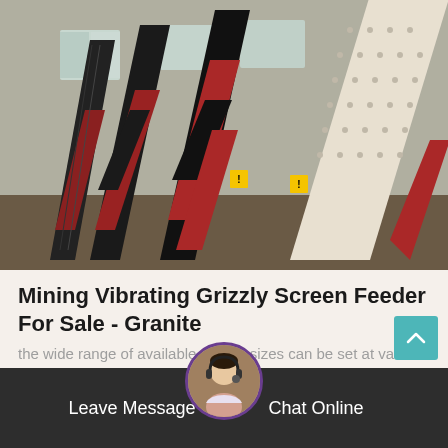[Figure (photo): Industrial mining vibrating screen feeder equipment stored in a warehouse — multiple large machines with alternating black and red corrugated panels leaning at angles, with a cream/white perforated surface visible on the right side.]
Mining Vibrating Grizzly Screen Feeder For Sale - Granite
the wide range of available screen sizes can be set at various angles to meet your process requirements...